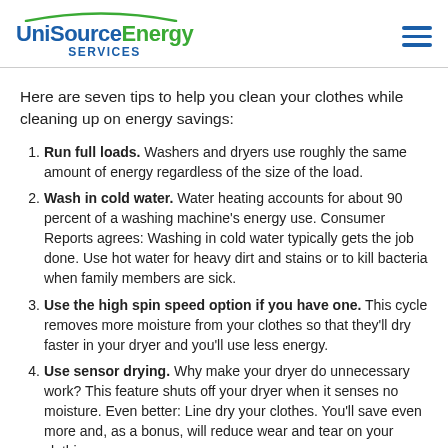UniSource Energy SERVICES
Here are seven tips to help you clean your clothes while cleaning up on energy savings:
Run full loads. Washers and dryers use roughly the same amount of energy regardless of the size of the load.
Wash in cold water. Water heating accounts for about 90 percent of a washing machine’s energy use. Consumer Reports agrees: Washing in cold water typically gets the job done. Use hot water for heavy dirt and stains or to kill bacteria when family members are sick.
Use the high spin speed option if you have one. This cycle removes more moisture from your clothes so that they’ll dry faster in your dryer and you’ll use less energy.
Use sensor drying. Why make your dryer do unnecessary work? This feature shuts off your dryer when it senses no moisture. Even better: Line dry your clothes. You’ll save even more and, as a bonus, will reduce wear and tear on your clothing.